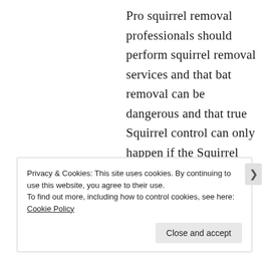Pro squirrel removal professionals should perform squirrel removal services and that bat removal can be dangerous and that true Squirrel control can only happen if the Squirrel removal process includes with exclusion. Squirrel removal and squirrel control issues
Privacy & Cookies: This site uses cookies. By continuing to use this website, you agree to their use.
To find out more, including how to control cookies, see here: Cookie Policy